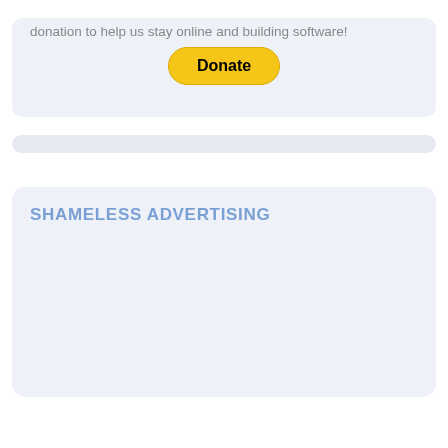donation to help us stay online and building software!
[Figure (other): PayPal Donate button — yellow rounded rectangle with bold black text 'Donate']
[Figure (other): Thin horizontal rounded separator bar in light blue-grey]
SHAMELESS ADVERTISING